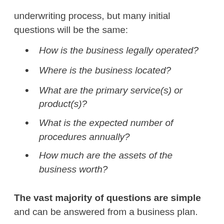underwriting process, but many initial questions will be the same:
How is the business legally operated?
Where is the business located?
What are the primary service(s) or product(s)?
What is the expected number of procedures annually?
How much are the assets of the business worth?
The vast majority of questions are simple and can be answered from a business plan.
More intricate details about the laser technology or procedure itself may need to be answered with consultation from your laser manufacturer –